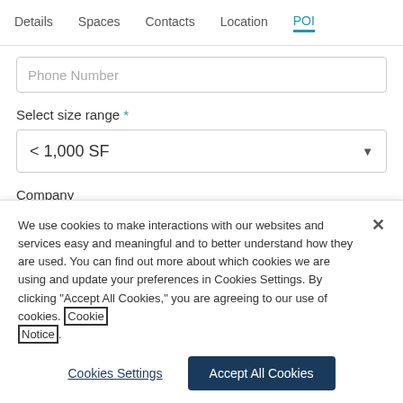Details  Spaces  Contacts  Location  POI
Phone Number
Select size range *
< 1,000 SF
Company
Company
We use cookies to make interactions with our websites and services easy and meaningful and to better understand how they are used. You can find out more about which cookies we are using and update your preferences in Cookies Settings. By clicking “Accept All Cookies,” you are agreeing to our use of cookies. Cookie Notice.
Cookies Settings
Accept All Cookies